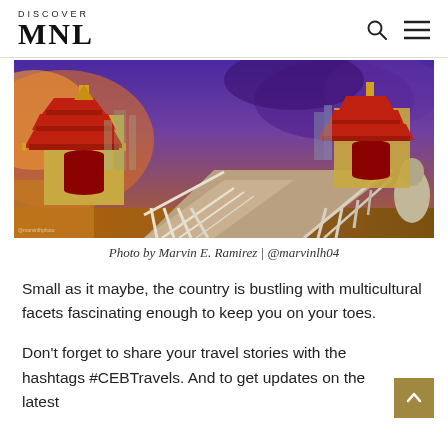DISCOVER MNL
[Figure (photo): Wide-angle photo of a Chinese pagoda temple on a waterfront bridge with white railings, under a dramatic purple and orange sunset sky. Two ornate red-roofed pagodas are visible.]
Photo by Marvin E. Ramirez | @marvinlh04
Small as it maybe, the country is bustling with multicultural facets fascinating enough to keep you on your toes.
Don't forget to share your travel stories with the hashtags #CEBTravels. And to get updates on the latest